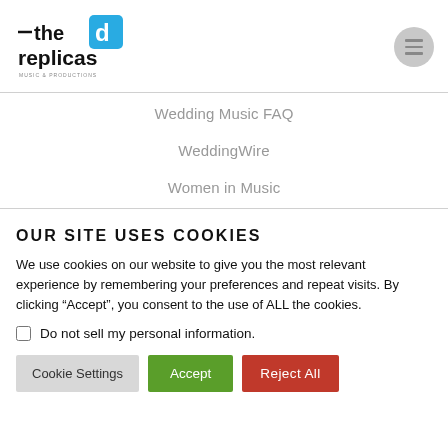[Figure (logo): The Replicas Music & Productions logo — black text 'the replicas' with a blue square 'd' icon and tagline 'MUSIC & PRODUCTIONS']
Wedding Music FAQ
WeddingWire
Women in Music
OUR SITE USES COOKIES
We use cookies on our website to give you the most relevant experience by remembering your preferences and repeat visits. By clicking “Accept”, you consent to the use of ALL the cookies.
Do not sell my personal information.
Cookie Settings | Accept | Reject All